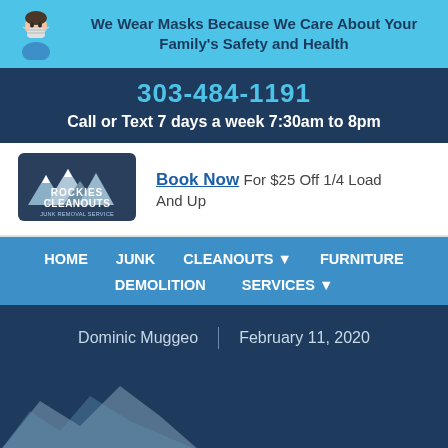We Wear Masks Because We Care About Your Family's Safety and Health
303-484-1191
Call or Text 7 days a week 7:30am to 8pm
[Figure (logo): Rockies Cleanouts Junk Removal Service logo with mountain graphic]
Book Now For $25 Off 1/4 Load And Up
HOME   JUNK   CLEANOUTS   FURNITURE   DEMOLITION   SERVICES
Dominic Muggeo | February 11, 2020